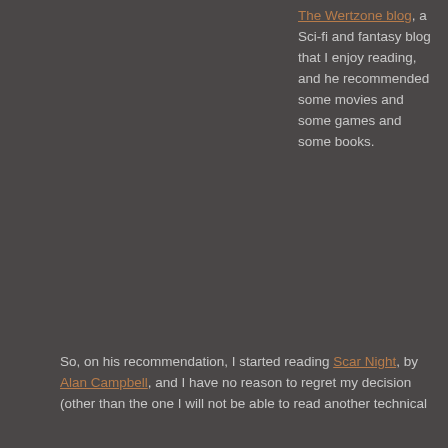The Wertzone blog, a Sci-fi and fantasy blog that I enjoy reading, and he recommended some movies and some games and some books.
So, on his recommendation, I started reading Scar Night, by Alan Campbell, and I have no reason to regret my decision (other than the one I will not be able to read another technical